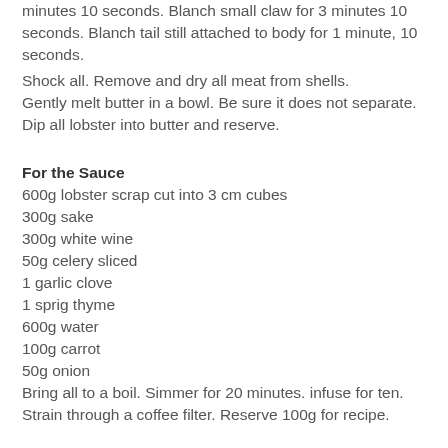minutes 10 seconds. Blanch small claw for 3 minutes 10 seconds. Blanch tail still attached to body for 1 minute, 10 seconds.
Shock all. Remove and dry all meat from shells.
Gently melt butter in a bowl. Be sure it does not separate. Dip all lobster into butter and reserve.
For the Sauce
600g lobster scrap cut into 3 cm cubes
300g sake
300g white wine
50g celery sliced
1 garlic clove
1 sprig thyme
600g water
100g carrot
50g onion
Bring all to a boil. Simmer for 20 minutes. infuse for ten. Strain through a coffee filter. Reserve 100g for recipe.
To finish:
Place buttered lobster pieces into a cold pan covered. Gently